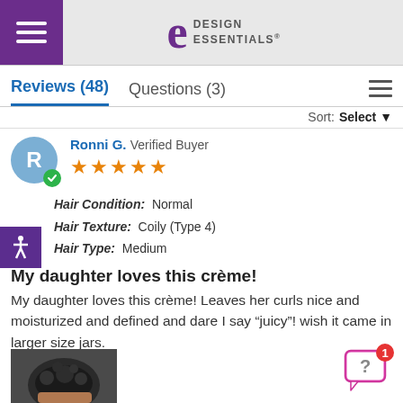Design Essentials - Navigation Header
Reviews (48)   Questions (3)
Sort: Select
Ronni G. Verified Buyer — 5 stars
Hair Condition: Normal
Hair Texture: Coily (Type 4)
Hair Type: Medium
My daughter loves this crème!
My daughter loves this crème! Leaves her curls nice and moisturized and defined and dare I say “juicy”! wish it came in larger size jars.
[Figure (photo): Photo of curly hair product result]